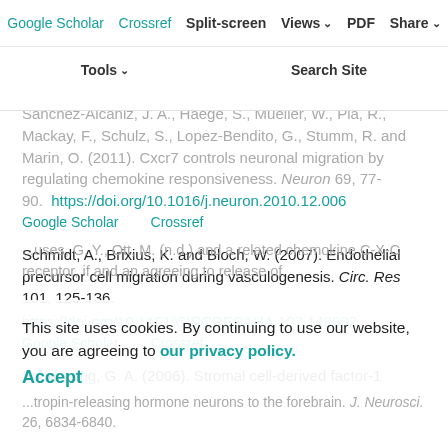Google Scholar  Crossref  Split-screen  Views  PDF  Share  Tools  Search Site
Sánchez-Alcañiz, J. A., Haege, S., Mueller, W., Pla, R., Mackay, F., Schulz, S., Lopez-Bendito, G., Stumm, R. and Marin, O. (2011). Cxcr7 controls neuronal migration by regulating chemokine responsiveness. Neuron 69, 77-90. https://doi.org/10.1016/j.neuron.2010.12.006
Google Scholar  Crossref
Schmidt, A., Brixius, K. and Bloch, W. (2007). Endothelial precursor cell migration during vasculogenesis. Circ. Res 101, 125-136. https://doi.org/10.1161/CIRCRESAHA.107.148932
Google Scholar  Crossref
Schwarting, G. A. (2006). Stromal cell-derived factor-1
This site uses cookies. By continuing to use our website, you are agreeing to our privacy policy. Accept